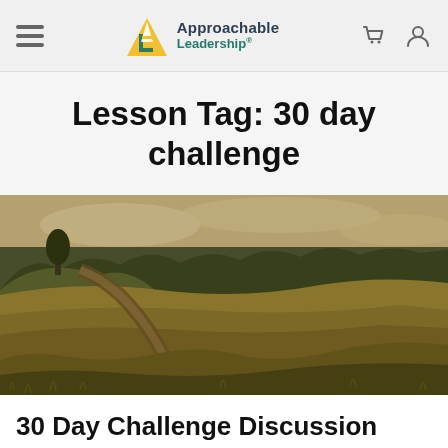Approachable Leadership
Lesson Tag: 30 day challenge
[Figure (photo): A scenic outdoor landscape with a dirt footpath winding through golden-green fields and grasses, with a tree-covered hill on the left and a dense forest of evergreen trees in the background under an overcast sky.]
30 Day Challenge Discussion